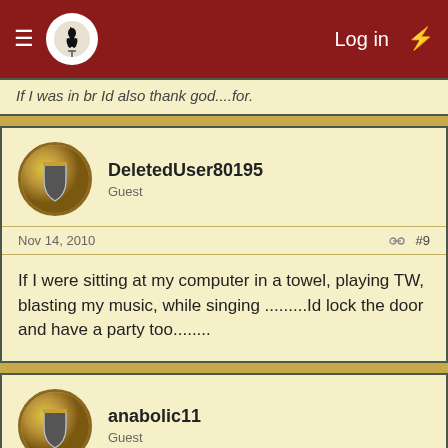Log in
If I was in br Id also thank god....for.
DeletedUser80195
Guest
Nov 14, 2010   #9
If I were sitting at my computer in a towel, playing TW, blasting my music, while singing .........Id lock the door and have a party too........
anabolic11
Guest
Nov 14, 2010   #10
The end of the wo... ...about time this has... counting this down for weeks ...TW w...laying more attention we could already be on cut price nobles and well into the end game.
Did you know you can also visit us on our Discord chat? Come and meet us!